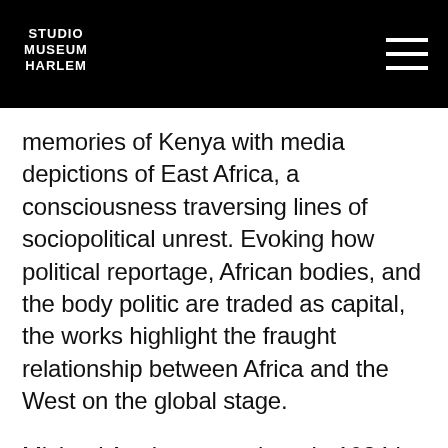Studio Museum Harlem
memories of Kenya with media depictions of East Africa, a consciousness traversing lines of sociopolitical unrest. Evoking how political reportage, African bodies, and the body politic are traded as capital, the works highlight the fraught relationship between Africa and the West on the global stage.
Michael Armitage was born in 1984 in Nairobi, Kenya, and lives and works in London. He received his BA in Fine Art from the Slade School of Fine Art in London (2007), and has a postgraduate diploma from the Royal Academy Schools